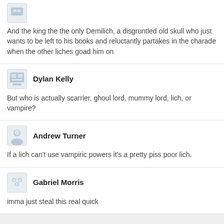And the king the the only Demilich, a disgruntled old skull who just wants to be left to his books and reluctantly partakes in the charade when the other liches goad him on
Dylan Kelly
But who is actually scarrier, ghoul lord, mummy lord, lich, or vampire?
Andrew Turner
If a lich can't use vampiric powers it's a pretty piss poor lich.
Gabriel Morris
imma just steal this real quick